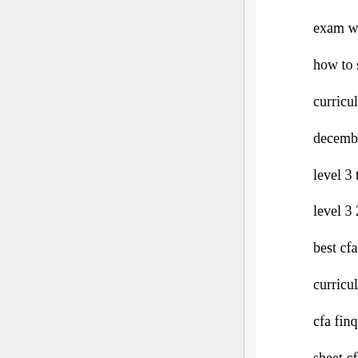exam weights 2021 cfa self study cfa level 3 videos cfa how to study for cfa level 2 cfa syllabus change schwes curriculum cfa preparation materials cfa level1 cfa quar december 2018 exam date cfa june exam 2018 cfa prep level 3 tips cfa level 1 book 5 pdf cfa june 2020 date cf level 3 2021 weights what is the difference between cfa best cfa level 2 mock exams "chartered financial analys curriculum cfa level 3 weights 2020 cfa level 1 quantita cfa finquiz cfa level 1 mock exam finquiz cfa cfa level sheet cfa curriculum 2020 pdf cfa level 2 mock exam fi curriculum pdf free cfa study material cfa level 1 practi cfa level 3 mock exam cfa level 1 mock exam pdf with bank free cfa level 1 mock exam 2021 cfa level 1 notes 2 notes cfa level 1 formula sheet 2021 finquiz.com cfa l schweser cfa level 2 2021 free download cfa level 3 sur cfa level 2 mock exam pdf cfa mock exam level 1 pdf c 2020 pdf cfa level 3 practice exams cfa level 1 study ma mock exam cfa level 2 study material pdf finuiz cfa leve questions bank free cfa level 1 all formulas cfa level 1 s 2 question bank pdf cfa level 1 formula cfa level 1 book level 2 curriculum changes 2021 cfa level 1 book pdf cf question bank pdf cfa level 1 curriculum pdf cfa level 3